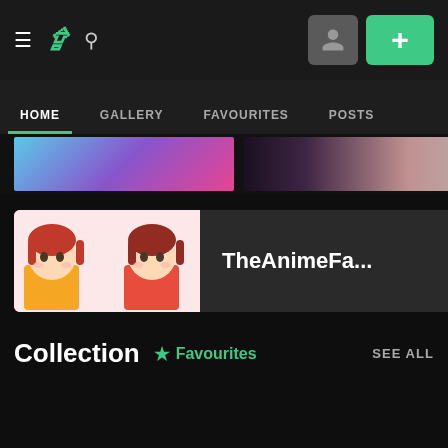DeviantArt navigation bar with hamburger menu, logo, search icon, user button, and add button
HOME | GALLERY | FAVOURITES | POSTS
[Figure (screenshot): Partially visible thumbnail images row — colorful graphic on left, anime face on right]
[Figure (screenshot): Group card: TheAnimeFa... with anime character thumbnail showing two girls]
Collection
Favourites
SEE ALL